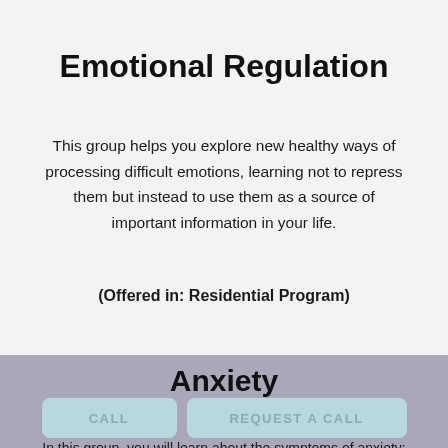Emotional Regulation
This group helps you explore new healthy ways of processing difficult emotions, learning not to repress them but instead to use them as a source of important information in your life.
(Offered in: Residential Program)
Anxiety
CALL
REQUEST A CALL
In this group, you will learn about the symptoms of anxiety; discover the